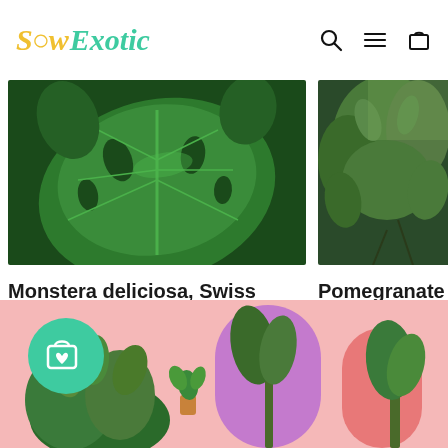Sow Exotic
[Figure (photo): Close-up of Monstera deliciosa (Swiss Cheese Plant) large green leaf with holes]
Monstera deliciosa, Swiss Cheese Plant
from $17.95
16 reviews
[Figure (photo): Pomegranate plant with green leaves, partially visible on the right side]
Pomegranate 'P... granatum)
from $18.95
[Figure (photo): Pink banner with plants, purple and pink arch shapes, and a teal circle with shopping bag and heart icon]